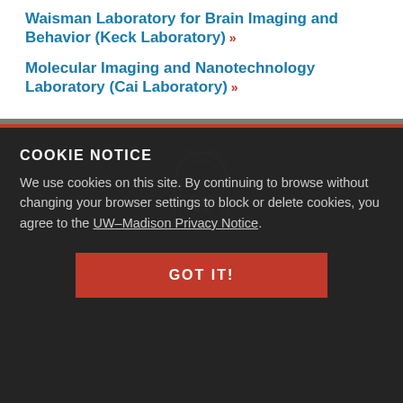Waisman Laboratory for Brain Imaging and Behavior (Keck Laboratory) »
Molecular Imaging and Nanotechnology Laboratory (Cai Laboratory) »
[Figure (logo): University of Wisconsin-Madison crest/arch logo in gray outline on dark background]
COOKIE NOTICE
We use cookies on this site. By continuing to browse without changing your browser settings to block or delete cookies, you agree to the UW–Madison Privacy Notice.
GOT IT!